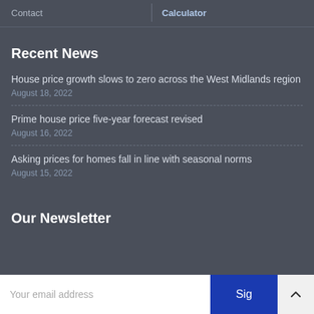Contact  |  Calculator
Recent News
House price growth slows to zero across the West Midlands region
August 18, 2022
Prime house price five-year forecast revised
August 16, 2022
Asking prices for homes fall in line with seasonal norms
August 15, 2022
Our Newsletter
Your email address  Sign